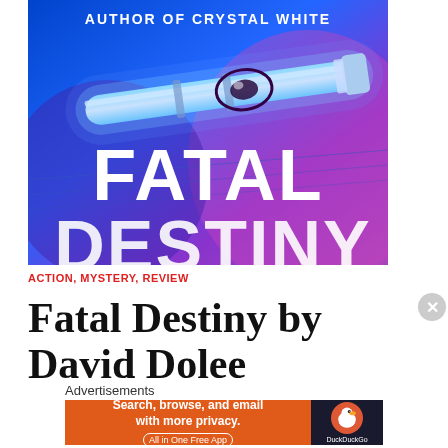[Figure (illustration): Book cover for 'Fatal Destiny' by David Dolee. Blue and purple glowing light saber or tube image. Text reads 'AUTHOR OF CRYSTAL WHITE' at top, 'FATAL' in large white letters in middle, 'DESTINY' partially visible at bottom.]
ACTION, MYSTERY, REVIEW
Fatal Destiny by David Dolee
Advertisements
[Figure (screenshot): DuckDuckGo advertisement banner. Orange/red background on left with text 'Search, browse, and email with more privacy. All in One Free App'. Dark background on right with DuckDuckGo logo and duck icon.]